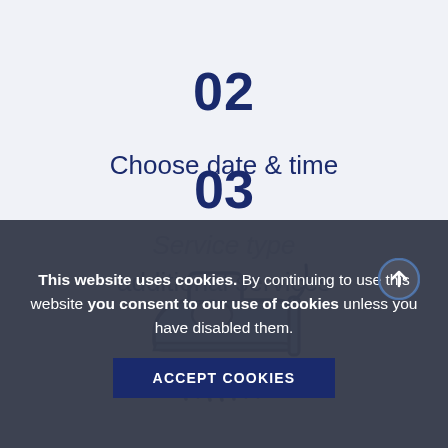02
Choose date & time
[Figure (illustration): An icon of a steam iron with steam coming out from the bottom, rendered in blue tones with dark navy outline, inside a light grey circle background.]
03
Service type
additional services
This website uses cookies. By continuing to use this website you consent to our use of cookies unless you have disabled them.
ACCEPT COOKIES